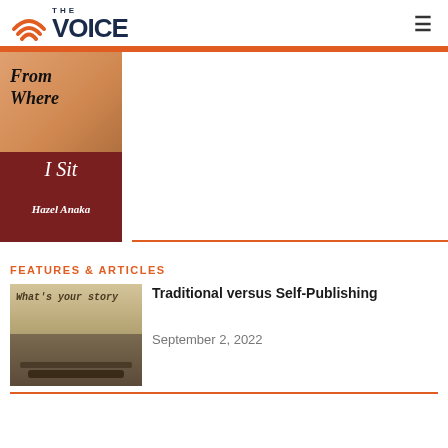THE VOICE
[Figure (illustration): Book cover: 'From Where I Sit' by Hazel Anaka. Top half has peach/orange background with italic black handwritten title text 'From Where I Sit'. Bottom half has dark red/maroon background with white italic text 'I Sit' and author name 'Hazel Anaka'.]
FEATURES & ARTICLES
[Figure (photo): Photo of a typewriter with paper showing the text 'What's your story']
Traditional versus Self-Publishing
September 2, 2022